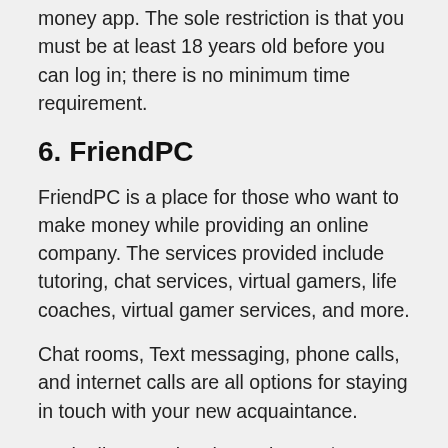money app. The sole restriction is that you must be at least 18 years old before you can log in; there is no minimum time requirement.
6. FriendPC
FriendPC is a place for those who want to make money while providing an online company. The services provided include tutoring, chat services, virtual gamers, life coaches, virtual gamer services, and more.
Chat rooms, Text messaging, phone calls, and internet calls are all options for staying in touch with your new acquaintance.
Each client can be charged up to $200, and